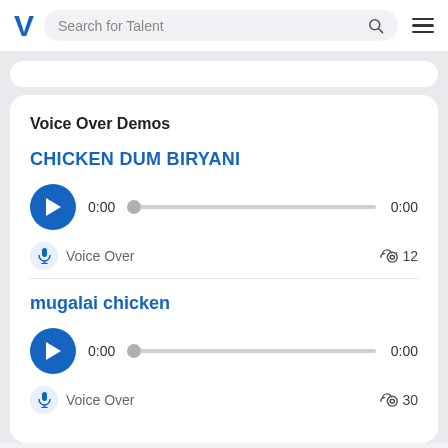V  Search for Talent
Voice Over Demos
CHICKEN DUM BIRYANI
[Figure (other): Audio player with play button, progress bar showing 0:00 / 0:00]
Voice Over  🎧12
mugalai chicken
[Figure (other): Audio player with play button, progress bar showing 0:00 / 0:00]
Voice Over  🎧30